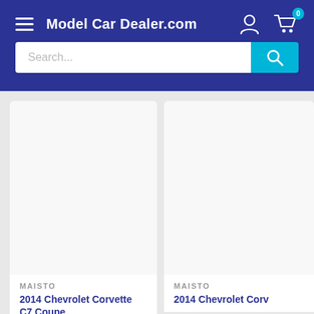Model Car Dealer.com
Search...
MAISTO
2014 Chevrolet Corvette C7 Coupe
MAISTO
2014 Chevrolet Corv